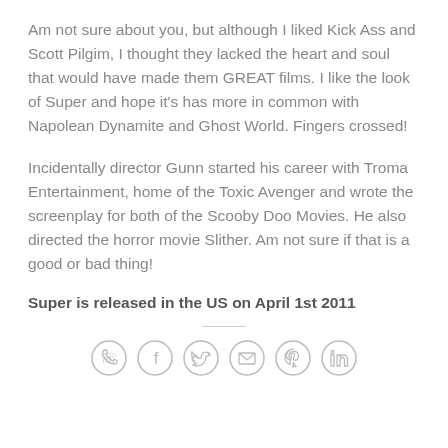Am not sure about you, but although I liked Kick Ass and Scott Pilgim, I thought they lacked the heart and soul that would have made them GREAT films. I like the look of Super and hope it’s has more in common with Napolean Dynamite and Ghost World. Fingers crossed!
Incidentally director Gunn started his career with Troma Entertainment, home of the Toxic Avenger and wrote the screenplay for both of the Scooby Doo Movies. He also directed the horror movie Slither. Am not sure if that is a good or bad thing!
Super is released in the US on April 1st 2011
[Figure (other): Row of six social sharing icon circles: WhatsApp, Facebook, Twitter, Email, Pinterest, LinkedIn]